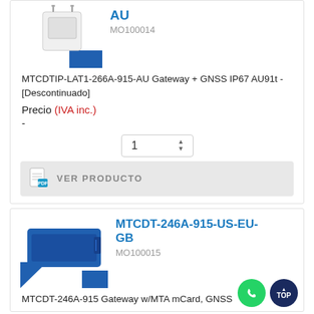[Figure (photo): Product image of a white IoT gateway device with antennas, partially showing blue decorative corner]
AU
MO100014
MTCDTIP-LAT1-266A-915-AU Gateway + GNSS IP67 AU91t - [Descontinuado]
Precio (IVA inc.)
-
1
VER PRODUCTO
[Figure (photo): Product image of a blue rectangular IoT gateway device with connectors]
MTCDT-246A-915-US-EU-GB
MO100015
MTCDT-246A-915 Gateway w/MTA mCard, GNSS